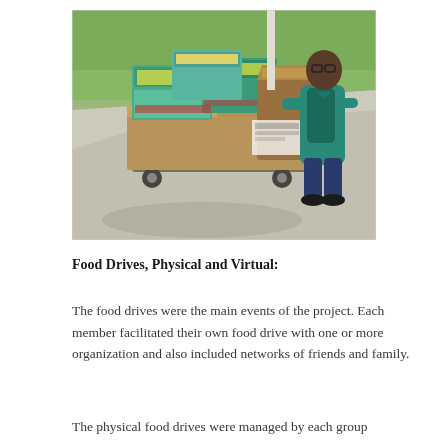[Figure (photo): A man standing outdoors on a sidewalk next to a cart loaded with boxes of food items, appears to be at a food drive collection event.]
Food Drives, Physical and Virtual:
The food drives were the main events of the project. Each member facilitated their own food drive with one or more organization and also included networks of friends and family.
The physical food drives were managed by each group